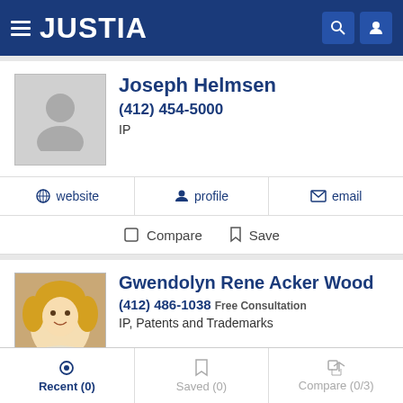JUSTIA
Joseph Helmsen
(412) 454-5000
IP
website  profile  email
Compare  Save
Gwendolyn Rene Acker Wood
(412) 486-1038 Free Consultation
IP, Patents and Trademarks
website  profile  email
Recent (0)  Saved (0)  Compare (0/3)